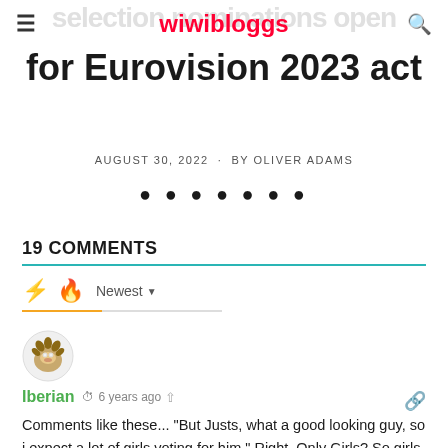wiwibloggs
for Eurovision 2023 act
AUGUST 30, 2022 · BY OLIVER ADAMS
• • • • • • •
19 COMMENTS
Newest
Iberian  6 years ago
Comments like these... "But Justs, what a good looking guy, so i expect a lot of girls voting for him." Right. Only Girls? So girls is the main public and the main voting power at Eurovision? Phhhhhhowwwww... eyes rolling